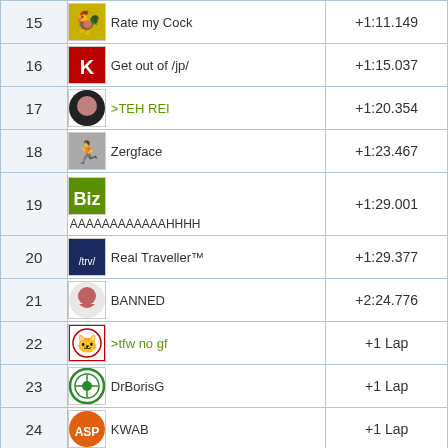| # | Player | Time |
| --- | --- | --- |
| 15 | Rate my Cock | +1:11.149 |
| 16 | Get out of /jp/ | +1:15.037 |
| 17 | >TEH REI | +1:20.354 |
| 18 | Zergface | +1:23.467 |
| 19 | AAAAAAAAAAAAHHHH | +1:29.001 |
| 20 | Real Traveller™ | +1:29.377 |
| 21 | BANNED | +2:24.776 |
| 22 | >tfw no gf | +1 Lap |
| 23 | DrBorisG | +1 Lap |
| 24 | KWAB | +1 Lap |
| 25 | Zyzz | +1 Lap |
| 26 | Broken Printer | +1 Lap |
| 27 | Kaworu Nagisa | +1 Lap |
| 28 | ... | +1... |